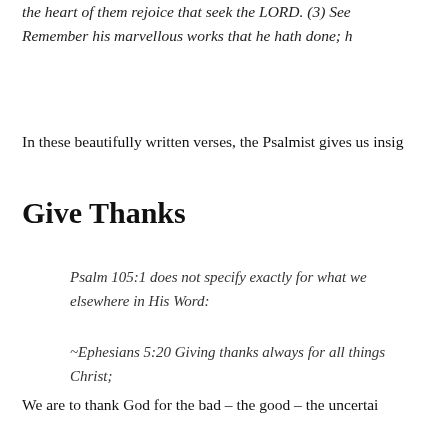the heart of them rejoice that seek the LORD. (3) Se… Remember his marvellous works that he hath done; h…
In these beautifully written verses, the Psalmist gives us insig…
Give Thanks
Psalm 105:1 does not specify exactly for what we… elsewhere in His Word:
~Ephesians 5:20 Giving thanks always for all things… Christ;
We are to thank God for the bad – the good – the uncertai… attitude of gratitude. A thankful heart cannot be achieved o… about our lot in life. Our heart is a muscle which needs to be… teaching ourselves to be thankful in all things will result in…